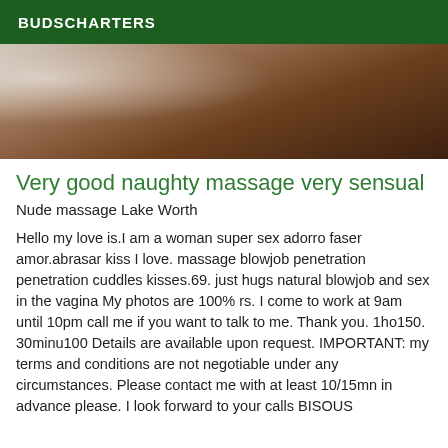BUDSCHARTERS
[Figure (photo): Partial interior room photo showing a wooden floor and curtains in the background, with a blurred foreground.]
Very good naughty massage very sensual
Nude massage Lake Worth
Hello my love is.I am a woman super sex adorro faser amor.abrasar kiss I love. massage blowjob penetration penetration cuddles kisses.69. just hugs natural blowjob and sex in the vagina My photos are 100% rs. I come to work at 9am until 10pm call me if you want to talk to me. Thank you. 1ho150. 30minu100 Details are available upon request. IMPORTANT: my terms and conditions are not negotiable under any circumstances. Please contact me with at least 10/15mn in advance please. I look forward to your calls BISOUS